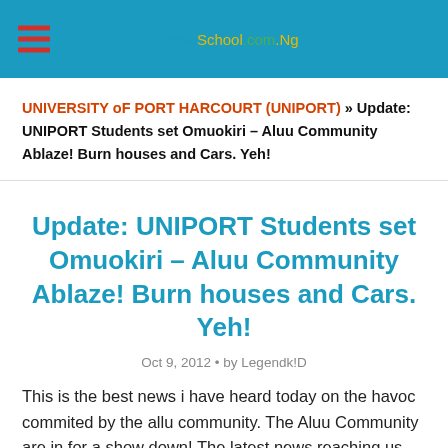NigeriaSchool.com.Ng
UNIVERSITY oF PORT HARCOURT (UNIPORT) » Update: UNIPORT Students set Omuokiri – Aluu Community Ablaze! Burn houses and Cars. Yeh!
Update: UNIPORT Students set Omuokiri – Aluu Community Ablaze! Burn houses and Cars. Yeh!
Oct 9, 2012 • by Legendk!D
This is the best news i have heard today on the havoc commited by the allu community. The Aluu Community are in for a show down! The latest news reaching us from The University of Port